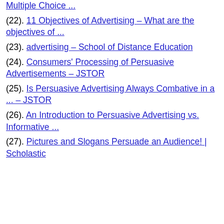Multiple Choice ...
(22). 11 Objectives of Advertising – What are the objectives of ...
(23). advertising – School of Distance Education
(24). Consumers' Processing of Persuasive Advertisements – JSTOR
(25). Is Persuasive Advertising Always Combative in a ... – JSTOR
(26). An Introduction to Persuasive Advertising vs. Informative ...
(27). Pictures and Slogans Persuade an Audience! | Scholastic